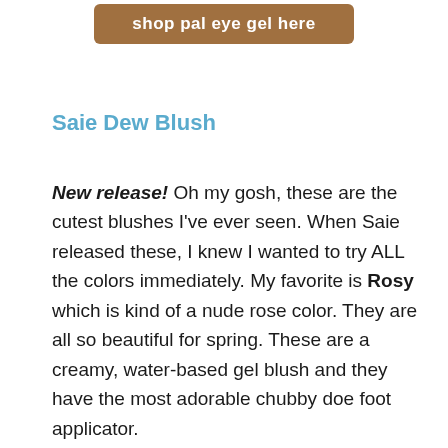[Figure (other): Brown rounded rectangle button with white bold text reading 'shop pal eye gel here']
Saie Dew Blush
New release! Oh my gosh, these are the cutest blushes I've ever seen. When Saie released these, I knew I wanted to try ALL the colors immediately. My favorite is Rosy which is kind of a nude rose color. They are all so beautiful for spring. These are a creamy, water-based gel blush and they have the most adorable chubby doe foot applicator.